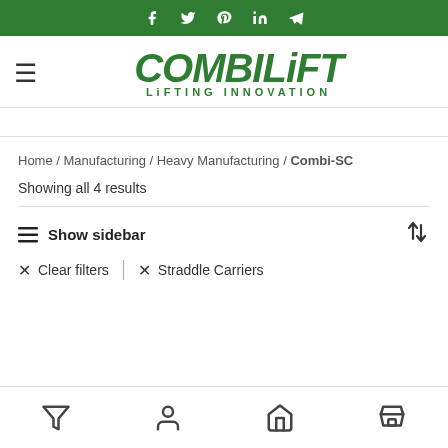Social media icons bar
[Figure (logo): Combilift Lifting Innovation logo with hamburger menu]
Home / Manufacturing / Heavy Manufacturing / Combi-SC
Showing all 4 results
≡ Show sidebar
✕ Clear filters  |  ✕ Straddle Carriers
Bottom navigation bar with filter, user, home, shop icons